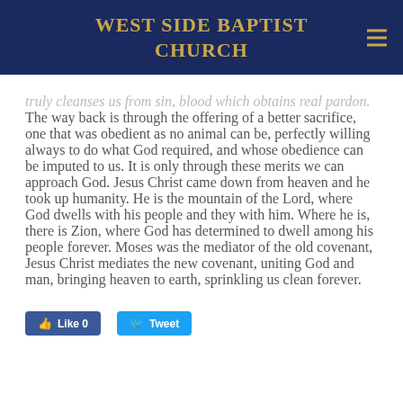WEST SIDE BAPTIST CHURCH
truly cleanses us from sin, blood which obtains real pardon. The way back is through the offering of a better sacrifice, one that was obedient as no animal can be, perfectly willing always to do what God required, and whose obedience can be imputed to us. It is only through these merits we can approach God. Jesus Christ came down from heaven and he took up humanity. He is the mountain of the Lord, where God dwells with his people and they with him. Where he is, there is Zion, where God has determined to dwell among his people forever. Moses was the mediator of the old covenant, Jesus Christ mediates the new covenant, uniting God and man, bringing heaven to earth, sprinkling us clean forever.